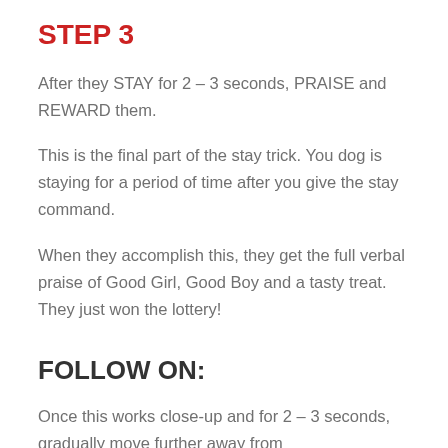STEP 3
After they STAY for 2 – 3 seconds, PRAISE and REWARD them.
This is the final part of the stay trick. You dog is staying for a period of time after you give the stay command.
When they accomplish this, they get the full verbal praise of Good Girl, Good Boy and a tasty treat. They just won the lottery!
FOLLOW ON:
Once this works close-up and for 2 – 3 seconds, gradually move further away from